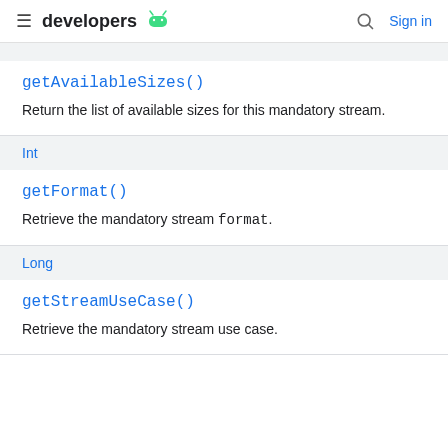developers [android logo] [search] Sign in
getAvailableSizes()
Return the list of available sizes for this mandatory stream.
Int
getFormat()
Retrieve the mandatory stream format.
Long
getStreamUseCase()
Retrieve the mandatory stream use case.